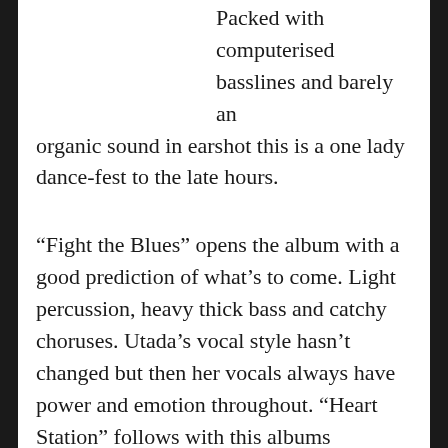Packed with computerised basslines and barely an organic sound in earshot this is a one lady dance-fest to the late hours.

“Fight the Blues” opens the album with a good prediction of what’s to come. Light percussion, heavy thick bass and catchy choruses. Utada’s vocal style hasn’t changed but then her vocals always have power and emotion throughout. “Heart Station” follows with this albums repeating theme of vocal ad-lib bridges. I thought the song was very basic upon first listen but its beauty is in its simplicity and is now a firm favourite.  Rounding off the trio dance tracks to